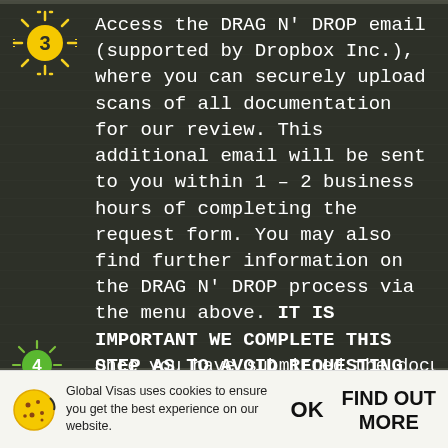[Figure (illustration): Yellow sun icon with number 3 in center (step 3 indicator)]
Access the DRAG N' DROP email (supported by Dropbox Inc.), where you can securely upload scans of all documentation for our review. This additional email will be sent to you within 1 – 2 business hours of completing the request form. You may also find further information on the DRAG N' DROP process via the menu above. IT IS IMPORTANT WE COMPLETE THIS STEP AS TO AVOID REQUESTING AMENDS UPON RECEIPT OF ALL ORIGINALS. FURTHERMORE, YOU MUST ALLOW OUR TEAM 1 WORKING DAY TO COMPLETE THE REVIEW PROCESS.
[Figure (illustration): Green sun icon with number 4 in center (step 4 indicator, partially visible)]
Global Visas uses cookies to ensure you get the best experience on our website.
OK
FIND OUT MORE